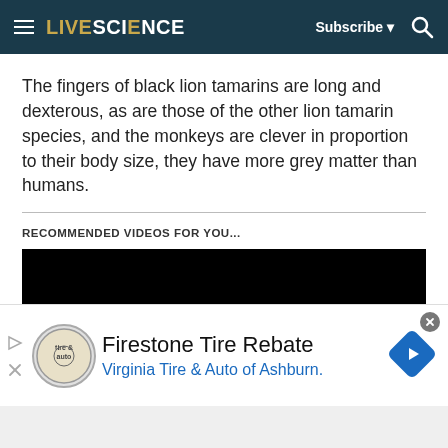LIVESCIENCE | Subscribe | Search
The fingers of black lion tamarins are long and dexterous, as are those of the other lion tamarin species, and the monkeys are clever in proportion to their body size, they have more grey matter than humans.
RECOMMENDED VIDEOS FOR YOU...
[Figure (other): Black video player area]
Firestone Tire Rebate
Virginia Tire & Auto of Ashburn.